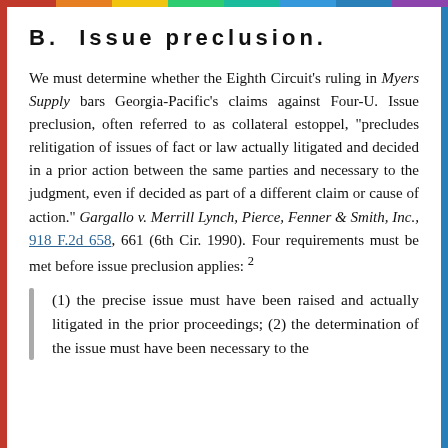B.  Issue preclusion.
We must determine whether the Eighth Circuit's ruling in Myers Supply bars Georgia-Pacific's claims against Four-U. Issue preclusion, often referred to as collateral estoppel, "precludes relitigation of issues of fact or law actually litigated and decided in a prior action between the same parties and necessary to the judgment, even if decided as part of a different claim or cause of action." Gargallo v. Merrill Lynch, Pierce, Fenner & Smith, Inc., 918 F.2d 658, 661 (6th Cir. 1990). Four requirements must be met before issue preclusion applies: 2
(1) the precise issue must have been raised and actually litigated in the prior proceedings; (2) the determination of the issue must have been necessary to the